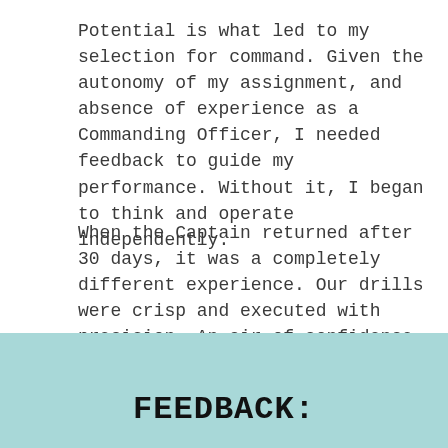Potential is what led to my selection for command. Given the autonomy of my assignment, and absence of experience as a Commanding Officer, I needed feedback to guide my performance. Without it, I began to think and operate independently.
When the Captain returned after 30 days, it was a completely different experience. Our drills were crisp and executed with precision. An air of confidence was present, pride replaced the complacency that had crept into routines.
Sometimes all it takes is a second set of experienced eyes.
FEEDBACK: